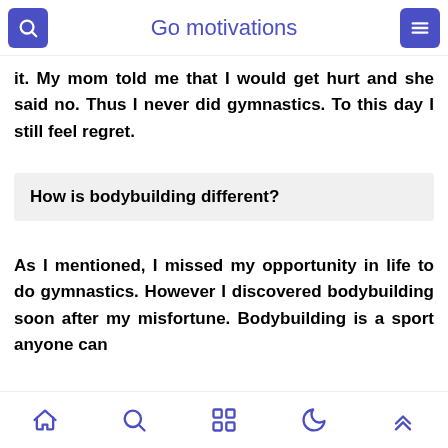Go motivations
it. My mom told me that I would get hurt and she said no. Thus I never did gymnastics. To this day I still feel regret.
How is bodybuilding different?
As I mentioned, I missed my opportunity in life to do gymnastics. However I discovered bodybuilding soon after my misfortune. Bodybuilding is a sport anyone can